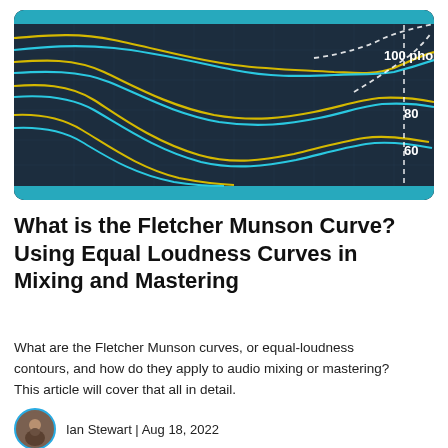[Figure (continuous-plot): Fletcher-Munson equal-loudness contour curves on a dark navy background. Multiple yellow (gold) and cyan (light blue) curves sweep from left to right, showing equal-loudness contours at 60, 80, and 100 phon levels labeled in white text. A dashed white curve appears at the far right. Cyan horizontal band at top and bottom of image.]
What is the Fletcher Munson Curve? Using Equal Loudness Curves in Mixing and Mastering
What are the Fletcher Munson curves, or equal-loudness contours, and how do they apply to audio mixing or mastering? This article will cover that all in detail.
Ian Stewart | Aug 18, 2022